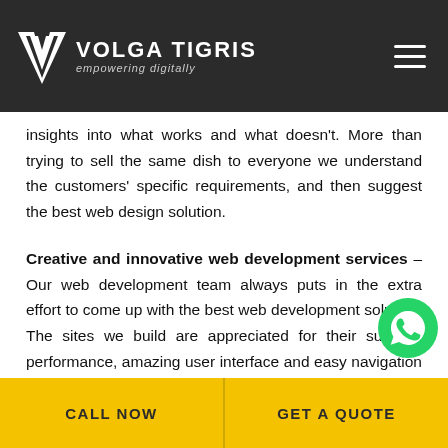VOLGA TIGRIS empowering digitally
insights into what works and what doesn't. More than trying to sell the same dish to everyone we understand the customers' specific requirements, and then suggest the best web design solution.
Creative and innovative web development services – Our web development team always puts in the extra effort to come up with the best web development solution. The sites we build are appreciated for their superior performance, amazing user interface and easy navigation features.
CALL NOW | GET A QUOTE